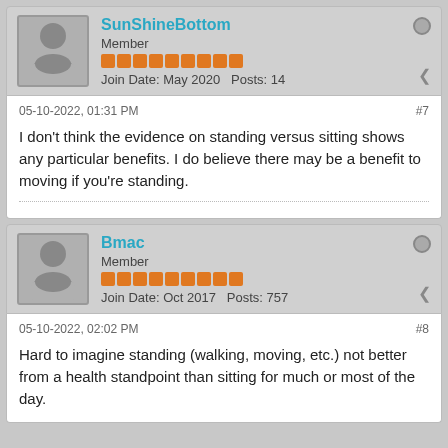SunShineBottom
Member
Join Date: May 2020   Posts: 14
05-10-2022, 01:31 PM
#7
I don't think the evidence on standing versus sitting shows any particular benefits. I do believe there may be a benefit to moving if you're standing.
Bmac
Member
Join Date: Oct 2017   Posts: 757
05-10-2022, 02:02 PM
#8
Hard to imagine standing (walking, moving, etc.) not better from a health standpoint than sitting for much or most of the day.